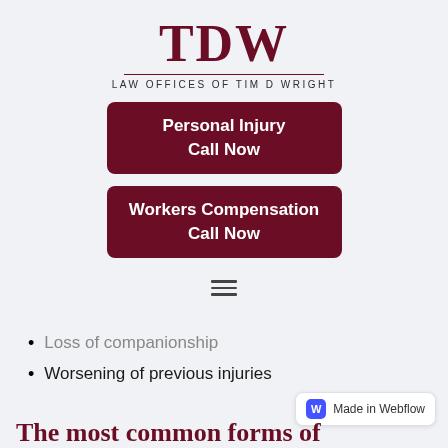[Figure (logo): TDW Law Offices of Tim D Wright logo — large serif TDW with horizontal rule and subtitle]
Personal Injury
Call Now
Workers Compensation
Call Now
[Figure (other): Hamburger menu icon (three horizontal lines)]
Loss of companionship
Worsening of previous injuries
[Figure (logo): Made in Webflow badge]
The most common forms of...